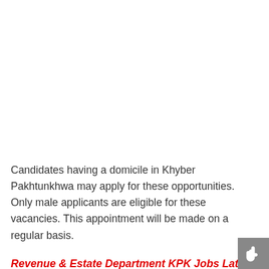Candidates having a domicile in Khyber Pakhtunkhwa may apply for these opportunities. Only male applicants are eligible for these vacancies. This appointment will be made on a regular basis.
Revenue & Estate Department KPK Jobs Latest
Posted on:
18th June 2022